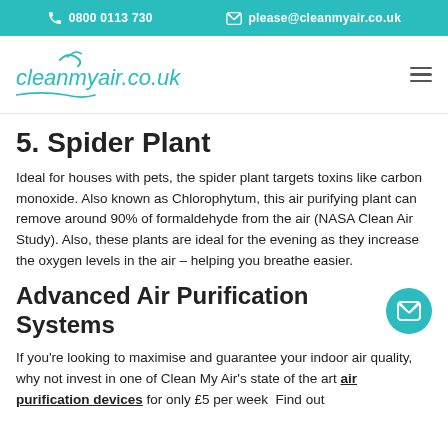0800 0113 730   please@cleanmyair.co.uk
[Figure (logo): cleanmyair.co.uk logo with wind/swirl graphic in teal]
5. Spider Plant
Ideal for houses with pets, the spider plant targets toxins like carbon monoxide. Also known as Chlorophytum, this air purifying plant can remove around 90% of formaldehyde from the air (NASA Clean Air Study). Also, these plants are ideal for the evening as they increase the oxygen levels in the air – helping you breathe easier.
Advanced Air Purification Systems
If you're looking to maximise and guarantee your indoor air quality, why not invest in one of Clean My Air's state of the art air purification devices for only £5 per week  Find out